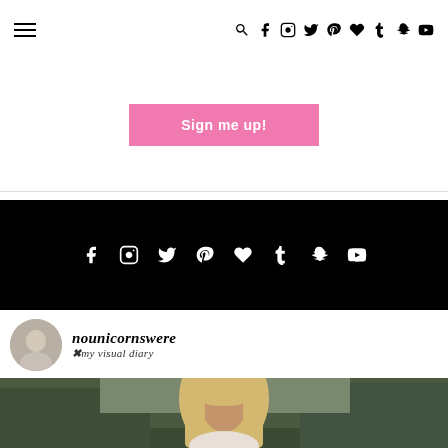Navigation bar with hamburger menu and social icons (search, facebook, instagram, twitter, pinterest, heart/bloglovin, tumblr, snapchat, youtube)
Sign me up!
[Figure (infographic): Black bar with white social media icons: facebook, instagram, twitter, pinterest, heart/bloglovin, tumblr, snapchat, youtube]
[Figure (photo): Circular avatar photo of a person]
nounicornswere ✖my visual diary
[Figure (photo): Photo of a blonde woman outdoors with trees in background]